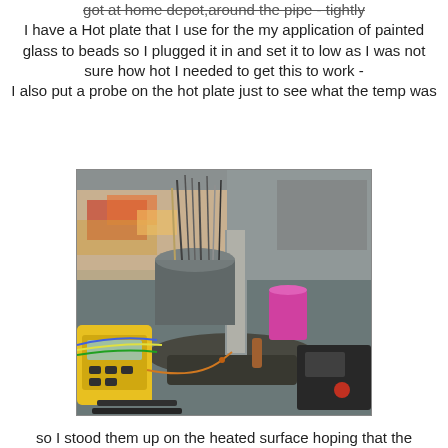got at home depot,around the pipe - tightly I have a Hot plate that I use for the my application of painted glass to beads so I plugged it in and set it to low as I was not sure how hot I needed to get this to work - I also put a probe on the hot plate just to see what the temp was
[Figure (photo): Workshop bench with a hot plate, cylindrical pipe/tube standing upright on it, surrounded by various tools, a multimeter/temperature probe device, a container holding brushes and rods, a pink cup, and other workshop items on a cluttered surface.]
so I stood them up on the heated surface hoping that the